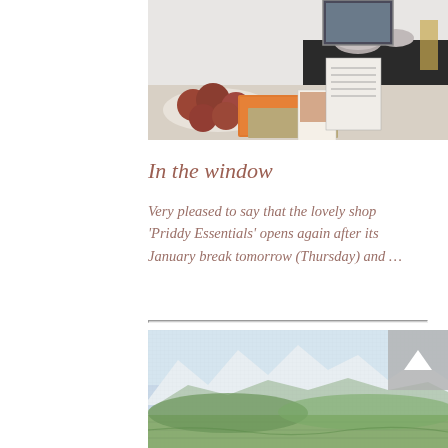[Figure (photo): Shop window display photo showing a bowl of dark red yarn balls, orange patterned fabric, a decorative mat, small cards/photos, and a black dresser with grey bowls and decorative items on top]
In the window
Very pleased to say that the lovely shop 'Priddy Essentials' opens again after its January break tomorrow (Thursday) and …
[Figure (photo): Textile or embroidery artwork showing a landscape with mountains, sky, and green fields in muted colours with textured stitching]